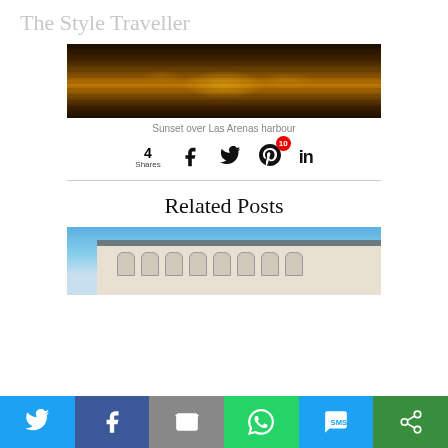The Style Traveller
[Figure (photo): Dark golden sunset reflecting over water (Las Arenas harbour), horizontal panoramic shot with warm amber and dark tones]
Sunset over Las Arenas harbour
[Figure (infographic): Social sharing bar showing 4 Shares with Facebook, Twitter, Pinterest (10 saves badge), and LinkedIn icons]
Related Posts
[Figure (photo): Ornate classical European building facade with arched windows against a blue sky]
[Figure (infographic): Mobile social share bottom bar with Twitter (blue), Facebook (dark blue), Email/Mail (grey), WhatsApp (green), SMS (blue), Share (green) buttons]